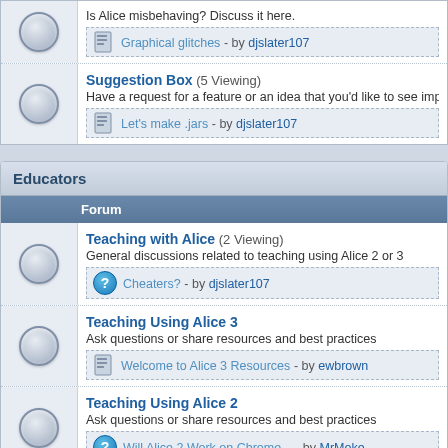Is Alice misbehaving? Discuss it here.
Graphical glitches - by djslater107
Suggestion Box (5 Viewing)
Have a request for a feature or an idea that you'd like to see implemented i
Let's make .jars - by djslater107
Educators
Forum
Teaching with Alice (2 Viewing)
General discussions related to teaching using Alice 2 or 3
Cheaters? - by djslater107
Teaching Using Alice 3
Ask questions or share resources and best practices
Welcome to Alice 3 Resources - by ewbrown
Teaching Using Alice 2
Ask questions or share resources and best practices
Will Alice 2 Work on Chrome... - by MrMoke
CS Principles and Alice
Share, discuss, and ask for help for lessons and curriculum using Alice in th
Welcome to the Alice and CS... - by MrMoke